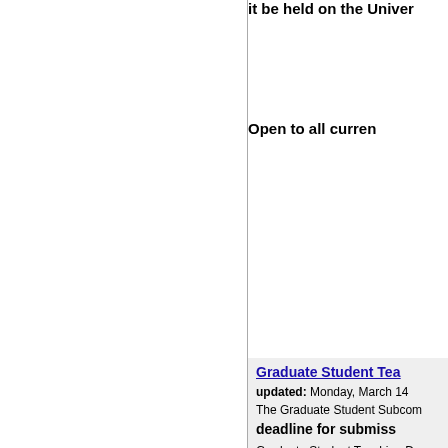it be held on the Univer
Open to all curren
Graduate Student Tea
updated: Monday, March 14
The Graduate Student Subcom
deadline for submiss
Graduate Student Teaching D
The Graduate Student and Pe invites submissions for a Gra sessions, graduate students w they can receive feedback on
These respondents will be cho